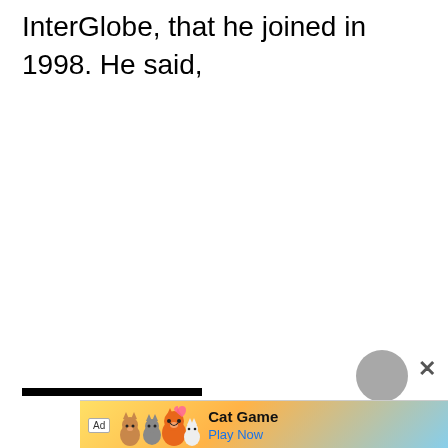InterGlobe, that he joined in 1998. He said,
[Figure (other): Horizontal black divider bar near bottom of page]
[Figure (other): Gray circular scroll/back button with X close button overlay]
[Figure (other): Advertisement banner for Cat Game app with colorful cat characters, Ad label, game title 'Cat Game', and 'Play Now' button]